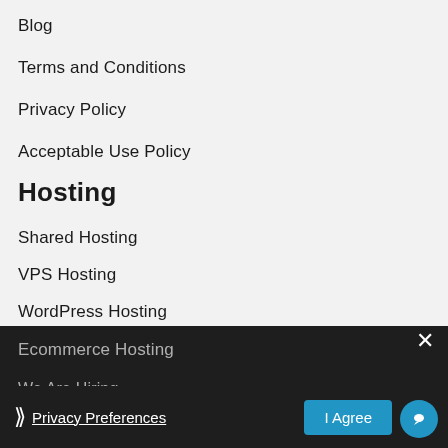Blog
Terms and Conditions
Privacy Policy
Acceptable Use Policy
Hosting
Shared Hosting
VPS Hosting
WordPress Hosting
Ecommerce Hosting
Careers
We Are Hiring
Privacy Preferences
I Agree